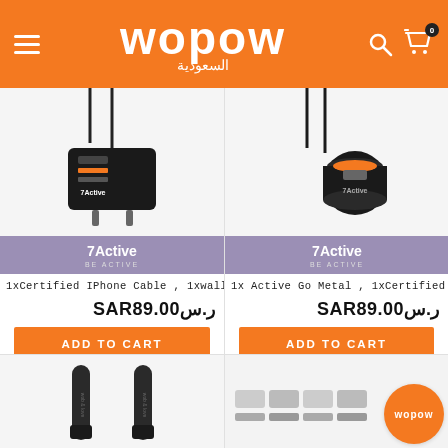wopow السعودية — navigation header
[Figure (photo): Product photo: 7Active certified iPhone cable and wall charger bundle]
[Figure (logo): 7Active brand badge in purple]
1xCertified IPhone Cable , 1xwall Ch
ر.سSAR89.00
ADD TO CART
[Figure (photo): Product photo: Active Go Metal car charger and certified iPhone cable]
[Figure (logo): 7Active brand badge in purple]
1x Active Go Metal , 1xCertified IPho
ر.سSAR89.00
ADD TO CART
[Figure (photo): Product photo: USB-C cables (partially visible)]
[Figure (photo): Product photo: USB-C adapters (partially visible) with Wopow logo circle]